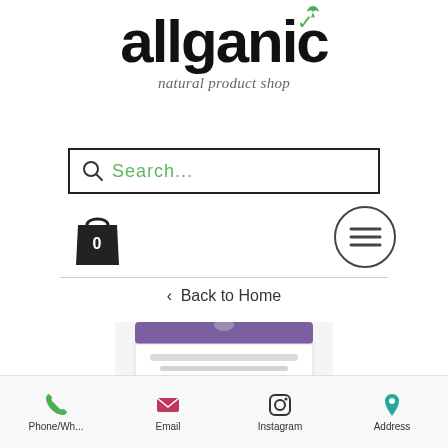[Figure (logo): Allganic natural product shop logo with green leaf accent on the 'i']
[Figure (screenshot): Search input box with magnifying glass icon and green placeholder text 'Search...']
[Figure (infographic): Shopping cart icon with '0' badge and hamburger menu circle icon]
< Back to Home
[Figure (photo): Blurred product packaging with purple header, appears to be a natural sponge product]
[Figure (infographic): Footer navigation bar with Phone/Wh..., Email, Instagram, Address icons]